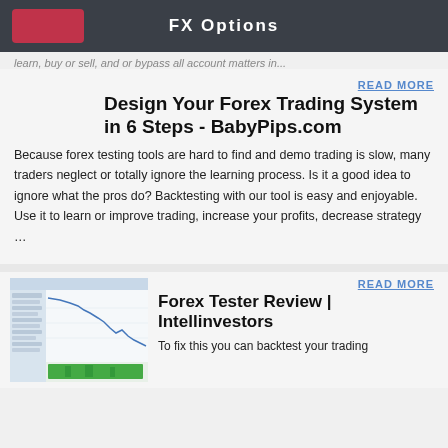FX Options
...learn, buy or sell, and or bypass all account matters in...
READ MORE
Design Your Forex Trading System in 6 Steps - BabyPips.com
Because forex testing tools are hard to find and demo trading is slow, many traders neglect or totally ignore the learning process. Is it a good idea to ignore what the pros do? Backtesting with our tool is easy and enjoyable. Use it to learn or improve trading, increase your profits, decrease strategy …
[Figure (screenshot): Screenshot of a forex trading software interface showing a chart with a downward trend line and a green volume bar at the bottom]
READ MORE
Forex Tester Review | Intellinvestors
To fix this you can backtest your trading